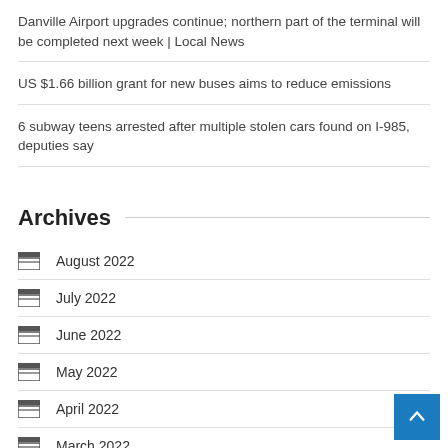Danville Airport upgrades continue; northern part of the terminal will be completed next week | Local News
US $1.66 billion grant for new buses aims to reduce emissions
6 subway teens arrested after multiple stolen cars found on I-985, deputies say
Archives
August 2022
July 2022
June 2022
May 2022
April 2022
March 2022